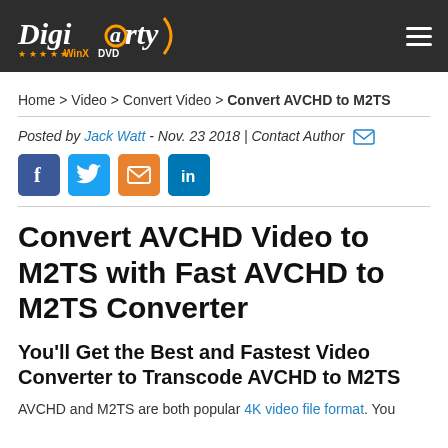Digiarty WinXDVD
Home > Video > Convert Video > Convert AVCHD to M2TS
Posted by Jack Watt - Nov. 23 2018 | Contact Author
[Figure (other): Social sharing icons: Facebook, Twitter, Email, LinkedIn]
Convert AVCHD Video to M2TS with Fast AVCHD to M2TS Converter
You'll Get the Best and Fastest Video Converter to Transcode AVCHD to M2TS
AVCHD and M2TS are both popular 4K video file format. You